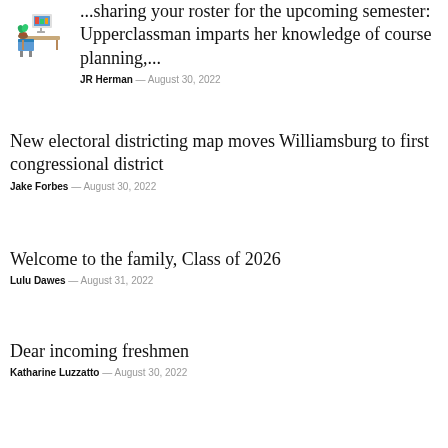[Figure (illustration): Illustration of a desk with a computer and a blue chair, representing a home/school study setup]
...sharing your roster for the upcoming semester: Upperclassman imparts her knowledge of course planning,...
JR Herman — August 30, 2022
New electoral districting map moves Williamsburg to first congressional district
Jake Forbes — August 30, 2022
Welcome to the family, Class of 2026
Lulu Dawes — August 31, 2022
Dear incoming freshmen
Katharine Luzzatto — August 30, 2022